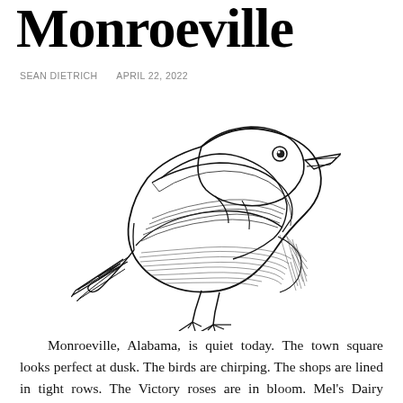Monroeville
SEAN DIETRICH   APRIL 22, 2022
[Figure (illustration): Line drawing illustration of a small bird (resembling a mockingbird or sparrow) in black and white, with detailed cross-hatching on the body, standing in profile facing right.]
Monroeville, Alabama, is quiet today. The town square looks perfect at dusk. The birds are chirping. The shops are lined in tight rows. The Victory roses are in bloom. Mel's Dairy Dream is doing steady business.